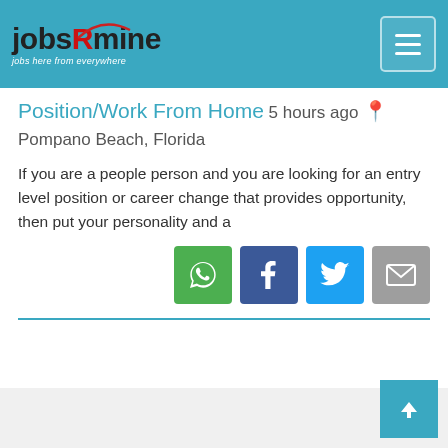jobsRmine – jobs here from everywhere
Position/Work From Home 5 hours ago Pompano Beach, Florida
If you are a people person and you are looking for an entry level position or career change that provides opportunity, then put your personality and a
[Figure (infographic): Social share buttons: WhatsApp (green), Facebook (dark blue), Twitter (light blue), Email (grey)]